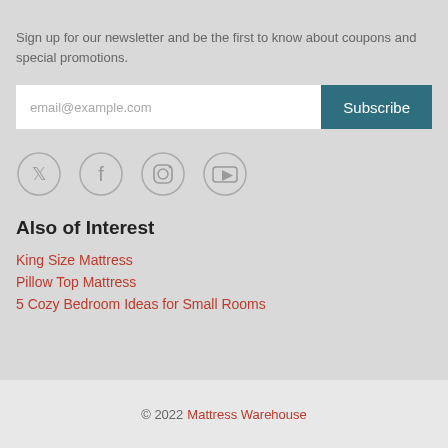Sign up for our newsletter and be the first to know about coupons and special promotions.
email@example.com
Subscribe
[Figure (illustration): Four social media icons in circles: Twitter, Facebook, Instagram, YouTube]
Also of Interest
King Size Mattress
Pillow Top Mattress
5 Cozy Bedroom Ideas for Small Rooms
© 2022 Mattress Warehouse